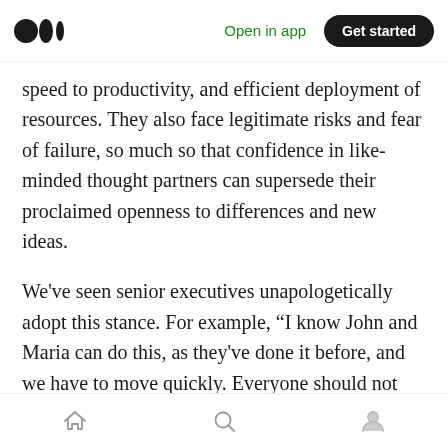Open in app | Get started
speed to productivity, and efficient deployment of resources. They also face legitimate risks and fear of failure, so much so that confidence in like-minded thought partners can supersede their proclaimed openness to differences and new ideas.
We've seen senior executives unapologetically adopt this stance. For example, “I know John and Maria can do this, as they've done it before, and we have to move quickly. Everyone should not have to be involved in every decision”. One can certainly buy this rationale, yet there are many
Home | Search | Profile